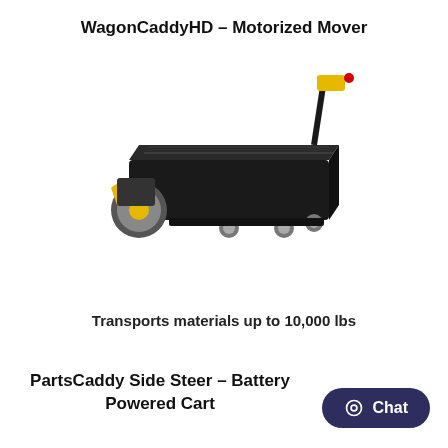WagonCaddyHD – Motorized Mover
[Figure (photo): A black motorized mover / industrial cart (WagonCaddyHD) with yellow accents, a large front drive wheel, multiple rear casters, a flat platform deck, and a vertical tiller/steering handle with red emergency stop button at the top right.]
Transports materials up to 10,000 lbs
PartsCaddy Side Steer – Battery Powered Cart